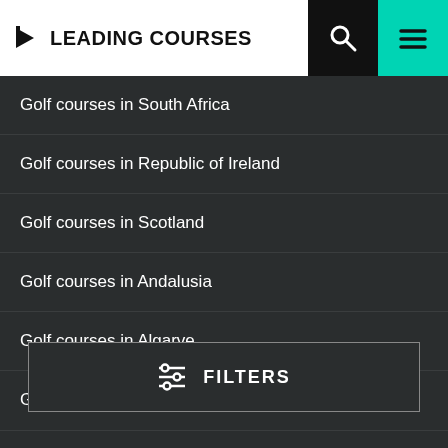LEADING COURSES
Golf courses in South Africa
Golf courses in Republic of Ireland
Golf courses in Scotland
Golf courses in Andalusia
Golf courses in Algarve
Golf courses in Tuscany
Golf courses in Florida
FILTERS